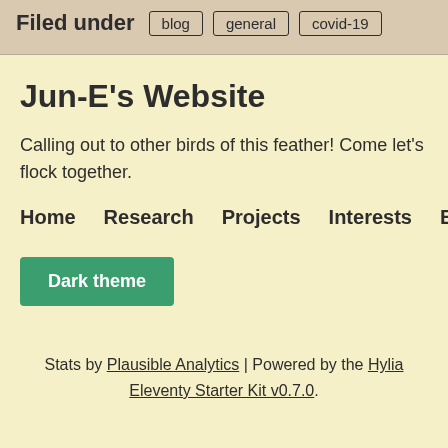Filed under   blog   general   covid-19
Jun-E's Website
Calling out to other birds of this feather! Come let's flock together.
Home   Research   Projects   Interests   Blog   About
Dark theme
Stats by Plausible Analytics | Powered by the Hylia Eleventy Starter Kit v0.7.0.